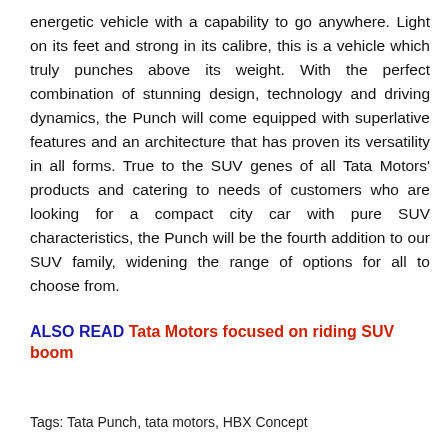energetic vehicle with a capability to go anywhere. Light on its feet and strong in its calibre, this is a vehicle which truly punches above its weight. With the perfect combination of stunning design, technology and driving dynamics, the Punch will come equipped with superlative features and an architecture that has proven its versatility in all forms. True to the SUV genes of all Tata Motors' products and catering to needs of customers who are looking for a compact city car with pure SUV characteristics, the Punch will be the fourth addition to our SUV family, widening the range of options for all to choose from.
ALSO READ Tata Motors focused on riding SUV boom
Tags: Tata Punch, tata motors, HBX Concept